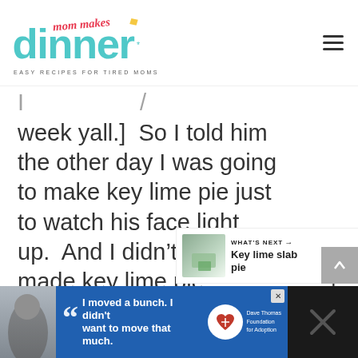[Figure (logo): Mom Makes Dinner logo with teal script 'dinner' text and red cursive 'mom makes' above, followed by tagline 'EASY RECIPES FOR TIRED MOMS']
week yall.]  So I told him the other day I was going to make key lime pie just to watch his face light up.  And I didn't lie.  I just made key lime pie granola instead.
[Figure (illustration): What's Next section showing a key lime slab pie image with label 'WHAT'S NEXT →' and title 'Key lime slab pie']
[Figure (screenshot): Advertisement banner at bottom: Dave Thomas Foundation for Adoption ad with quote 'I moved a bunch. I didn't want to move that much.']